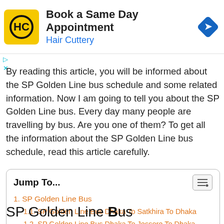[Figure (infographic): Advertisement banner for Hair Cuttery: Book a Same Day Appointment, with HC logo in yellow square, Hair Cuttery text in blue, and a blue diamond-shaped navigation icon on the right.]
By reading this article, you will be informed about the SP Golden Line bus schedule and some related information. Now I am going to tell you about the SP Golden Line bus. Every day many people are travelling by bus. Are you one of them? To get all the information about the SP Golden Line bus schedule, read this article carefully.
Jump To...
1. SP Golden Line Bus
1.1. SP Golden Line Bus Dhaka To Satkhira To Dhaka
1.2. SP Golden Line Bus Dhaka To Jessore To Dhaka
SP Golden Line Bus